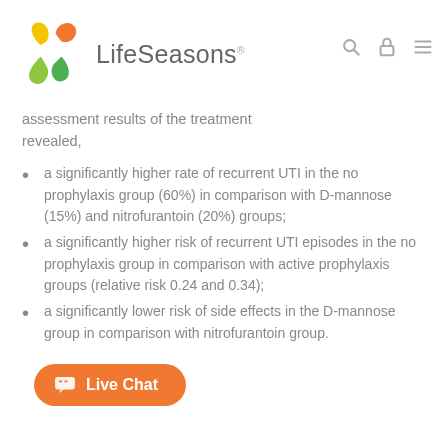LifeSeasons
assessment results of the treatment revealed,
a significantly higher rate of recurrent UTI in the no prophylaxis group (60%) in comparison with D-mannose (15%) and nitrofurantoin (20%) groups;
a significantly higher risk of recurrent UTI episodes in the no prophylaxis group in comparison with active prophylaxis groups (relative risk 0.24 and 0.34);
a significantly lower risk of side effects in the D-mannose group in comparison with nitrofurantoin group.